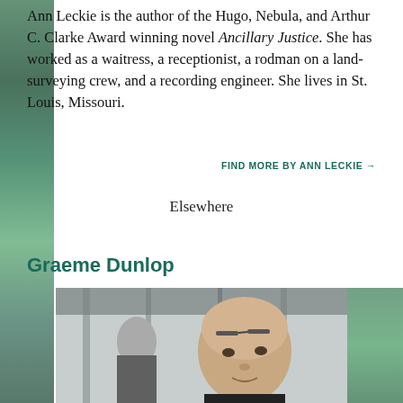Ann Leckie is the author of the Hugo, Nebula, and Arthur C. Clarke Award winning novel Ancillary Justice. She has worked as a waitress, a receptionist, a rodman on a land-surveying crew, and a recording engineer. She lives in St. Louis, Missouri.
FIND MORE BY ANN LECKIE →
Elsewhere
Graeme Dunlop
[Figure (photo): Headshot photo of Graeme Dunlop, a bald man looking upward, seated in what appears to be a greenhouse or conservatory setting with metal beams visible above.]